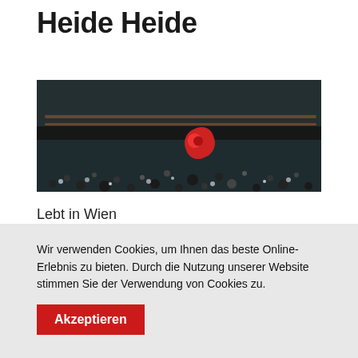Heide Heide
[Figure (photo): Photo of a dark decorated hat with copper/gold brim lines and a red rose decoration against a light blue background, with dark bead/pebble decorations at the bottom.]
Lebt in Wien
Wir verwenden Cookies, um Ihnen das beste Online-Erlebnis zu bieten. Durch die Nutzung unserer Website stimmen Sie der Verwendung von Cookies zu.
Akzeptieren